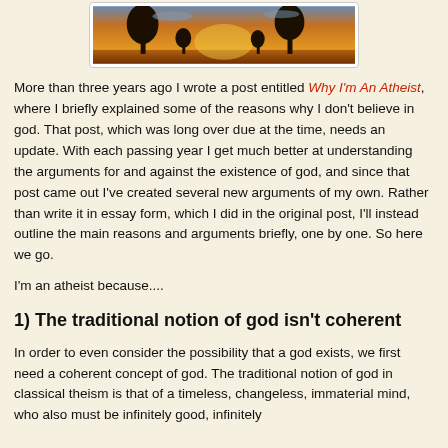[Figure (photo): Sunset landscape with silhouetted trees against an orange and golden sky]
More than three years ago I wrote a post entitled Why I'm An Atheist, where I briefly explained some of the reasons why I don't believe in god. That post, which was long over due at the time, needs an update. With each passing year I get much better at understanding the arguments for and against the existence of god, and since that post came out I've created several new arguments of my own. Rather than write it in essay form, which I did in the original post, I'll instead outline the main reasons and arguments briefly, one by one. So here we go.
I'm an atheist because....
1) The traditional notion of god isn't coherent
In order to even consider the possibility that a god exists, we first need a coherent concept of god. The traditional notion of god in classical theism is that of a timeless, changeless, immaterial mind, who also must be infinitely good, infinitely